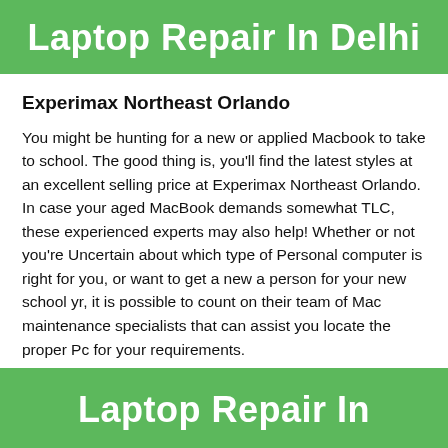Laptop Repair In Delhi
Experimax Northeast Orlando
You might be hunting for a new or applied Macbook to take to school. The good thing is, you’ll find the latest styles at an excellent selling price at Experimax Northeast Orlando. In case your aged MacBook demands somewhat TLC, these experienced experts may also help! Whether or not you’re Uncertain about which type of Personal computer is right for you, or want to get a new a person for your new school yr, it is possible to count on their team of Mac maintenance specialists that can assist you locate the proper Pc for your requirements.
Laptop Repair In